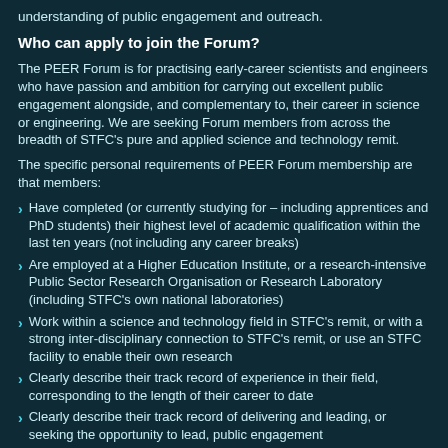understanding of public engagement and outreach.
Who can apply to join the Forum?
The PEER Forum is for practising early-career scientists and engineers who have passion and ambition for carrying out excellent public engagement alongside, and complementary to, their career in science or engineering. We are seeking Forum members from across the breadth of STFC's pure and applied science and technology remit.
The specific personal requirements of PEER Forum membership are that members:
Have completed (or currently studying for – including apprentices and PhD students) their highest level of academic qualification within the last ten years (not including any career breaks)
Are employed at a Higher Education Institute, or a research-intensive Public Sector Research Organisation or Research Laboratory (including STFC's own national laboratories)
Work within a science and technology field in STFC's remit, or with a strong inter-disciplinary connection to STFC's remit, or use an STFC facility to enable their own research
Clearly describe their track record of experience in their field, corresponding to the length of their career to date
Clearly describe their track record of delivering and leading, or seeking the opportunity to lead, public engagement